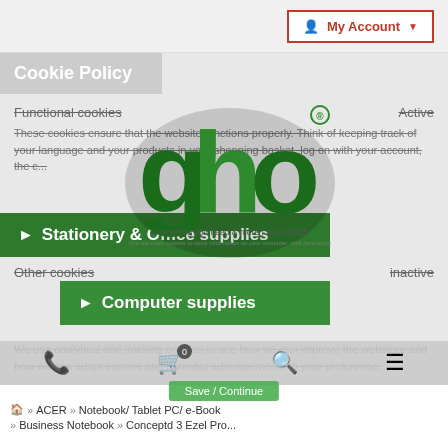My Account
Cookie Policy
Functional cookies    Active
These cookies ensure that the website functions properly. Think of keeping track of your language and your products in your shopping basket, log on with your account, the c...
Stationery & Office supplies
Computer supplies
Other cookies    inactive
We use analytical and tracking cookies to see how we can improve the webstore and how we can adapt content and potential advertisements to your preference.
[Figure (logo): GHO logo — green stylized letters g h o with registered trademark symbol and tagline 'everything you need & more | since 2002']
Home » ACER » Notebook/ Tablet PC/ e-Book » Business Notebook » Conceptd 3 Ezel Pro...